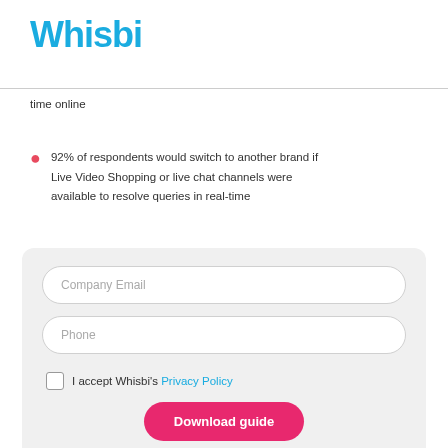[Figure (logo): Whisbi logo in bold teal/blue bubbly font]
time online
92% of respondents would switch to another brand if Live Video Shopping or live chat channels were available to resolve queries in real-time
Company Email input field, Phone input field, I accept Whisbi's Privacy Policy checkbox, Download guide button